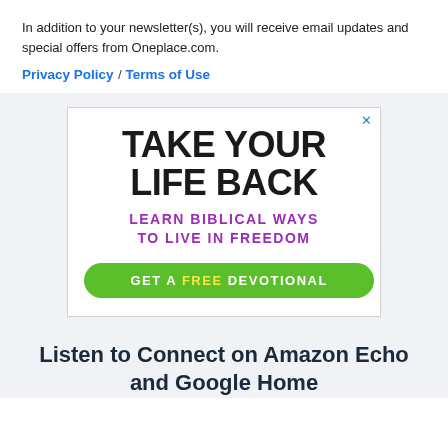In addition to your newsletter(s), you will receive email updates and special offers from Oneplace.com.
Privacy Policy / Terms of Use
[Figure (illustration): Advertisement banner with text 'TAKE YOUR LIFE BACK', 'LEARN BIBLICAL WAYS TO LIVE IN FREEDOM', and a green button 'GET A FREE DEVOTIONAL']
Listen to Connect on Amazon Echo and Google Home